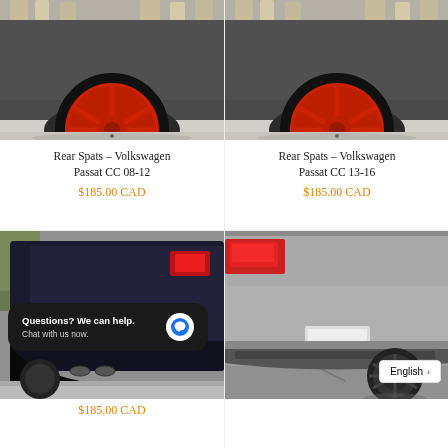[Figure (photo): Close-up photo of rear of dark grey Volkswagen Passat CC with red/orange aftermarket wheels at a car show, people visible in background]
Rear Spats – Volkswagen Passat CC 08-12
$185.00 CAD
[Figure (photo): Close-up photo of rear of dark grey Volkswagen Passat CC with red/orange aftermarket wheels at a car show, people visible in background]
Rear Spats – Volkswagen Passat CC 13-16
$185.00 CAD
[Figure (photo): Photo of rear lower corner of dark/black car showing rear spat aerodynamic accessory, exhaust tips visible]
$185.00 CAD
[Figure (photo): Photo of rear lower section of silver Volkswagen Golf showing rear diffuser/skirt accessory, red tail lights visible]